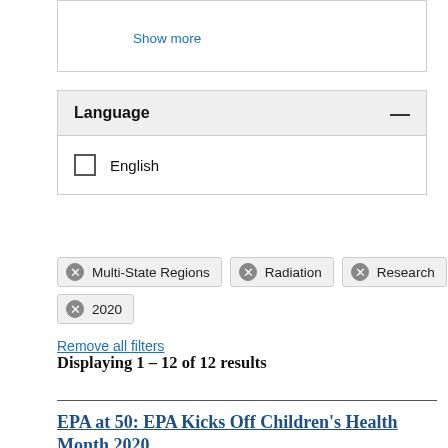Show more
Language
English
Multi-State Regions   Radiation   Research   2020
Remove all filters
Displaying 1 – 12 of 12 results
EPA at 50: EPA Kicks Off Children's Health Month 2020